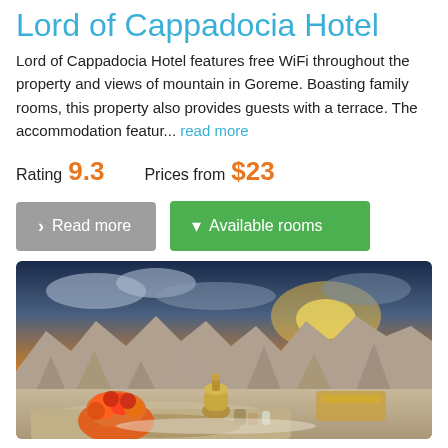Lord of Cappadocia Hotel
Lord of Cappadocia Hotel features free WiFi throughout the property and views of mountain in Goreme. Boasting family rooms, this property also provides guests with a terrace. The accommodation featur... read more
Rating 9.3   Prices from $23
Read more | Available rooms
[Figure (photo): Rooftop terrace of Lord of Cappadocia Hotel with a bowl of fresh fruit in the foreground, traditional teapot, and panoramic view of Goreme's cave houses and rock formations under a dramatic sunset sky.]